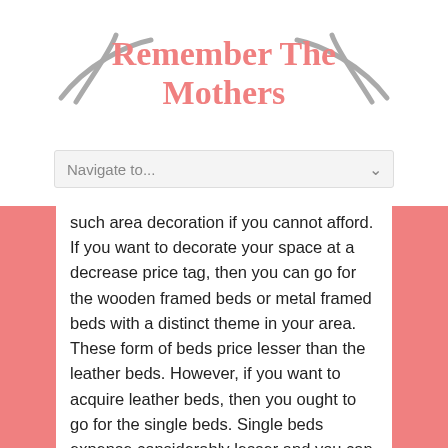[Figure (logo): Blog logo with pink serif text 'Remember The Mothers' flanked by gray decorative swoosh/stick graphic elements on left and right]
Navigate to...
such area decoration if you cannot afford. If you want to decorate your space at a decrease price tag, then you can go for the wooden framed beds or metal framed beds with a distinct theme in your area. These form of beds price lesser than the leather beds. However, if you want to acquire leather beds, then you ought to go for the single beds. Single beds expense considerably lesser and you can save a good quantity of money.